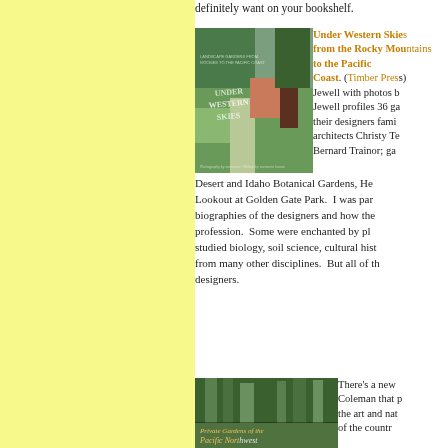definitely want on your bookshelf.
[Figure (photo): Book cover of 'Under Western Skies' showing a lush garden path with colorful flowers and trees]
Under Western Skies from the Rocky Mountains to the Pacific Coast. (Timber Press) by Susan Jewell with photos by... Jewell profiles 36 gardens and their designers familiar with landscape architects Christy Te... Bernard Trainor; gardens in the Sonoran Desert and Idaho Botanical Gardens, He... Lookout at Golden Gate Park. I was par... biographies of the designers and how they came to the profession. Some were enchanted by plants... studied biology, soil science, cultural history... from many other disciplines. But all of these... designers.
[Figure (photo): Book cover of 'Private Gardens of the Pacific Northwest' showing tall trees and lush green garden]
There's a new... Coleman that p... the art and nat... of the countr...